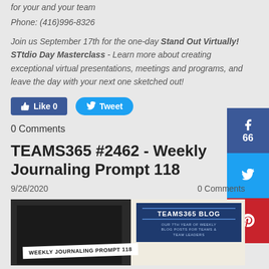for your and your team
Phone: (416)996-8326
Join us September 17th for the one-day Stand Out Virtually! STtdio Day Masterclass - Learn more about creating exceptional virtual presentations, meetings and programs, and leave the day with your next one sketched out!
[Figure (infographic): Social media buttons: Facebook Like 0, Twitter Tweet]
0 Comments
TEAMS365 #2462 - Weekly Journaling Prompt 118
9/26/2020    0 Comments
[Figure (photo): Blog image with Weekly Journaling Prompt 118 text and TEAMS365 BLOG badge]